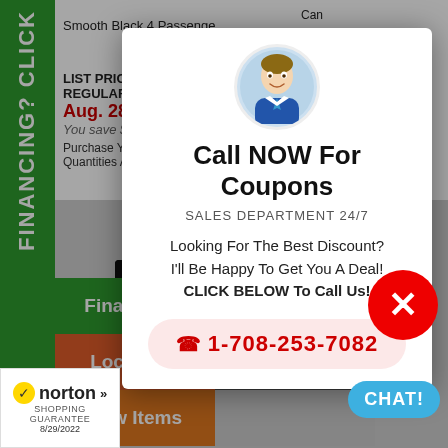FINANCING? CLICK
Smooth Black 4 Passenger
LIST PRICE: $779.95
REGULAR PRICE: $679.95
Aug. 28th 9 HR.
You save $300.00!
Purchase Your Brand New Quantities Available! Call
[Figure (photo): Product photo showing black metal frame/rack components on grey background]
[Figure (infographic): Call NOW For Coupons modal popup with avatar photo of man in suit, phone number 1-708-253-7082, sales department 24/7 information]
Call NOW For Coupons
SALES DEPARTMENT 24/7
Looking For The Best Discount?
I'll Be Happy To Get You A Deal!
CLICK BELOW To Call Us!
1-708-253-7082
Financing?
Make Offer
Locations
Support
New Items
[Figure (logo): Norton Shopping Guarantee badge with checkmark and date 8/29/2022]
CHAT!